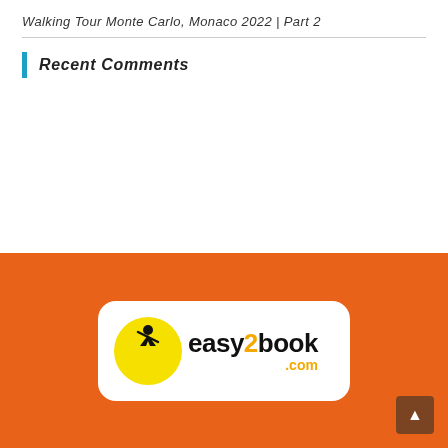Walking Tour Monte Carlo, Monaco 2022 | Part 2
Recent Comments
[Figure (logo): easy2book.com logo: white rounded-rectangle containing a yellow circle with a black jumping figure silhouette, followed by bold black text 'easy2book' with '2' in orange, and '.com' in orange below, on an orange background]